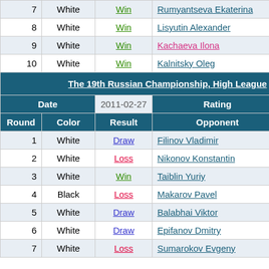| Round | Color | Result | Opponent | Rating |
| --- | --- | --- | --- | --- |
| 7 | White | Win | Rumyantseva Ekaterina | 1903. |
| 8 | White | Win | Lisyutin Alexander | 2130. |
| 9 | White | Win | Kachaeva Ilona | 1928. |
| 10 | White | Win | Kalnitsky Oleg | 2095. |
| [tournament header] The 19th Russian Championship, High League |  |  |  |  |
| Date |  | 2011-02-27 | Rating | 2522. |
| Round | Color | Result | Opponent |  |
| 1 | White | Draw | Filinov Vladimir | 2461. |
| 2 | White | Loss | Nikonov Konstantin | 2590. |
| 3 | White | Win | Taiblin Yuriy | 2393. |
| 4 | Black | Loss | Makarov Pavel | 2557. |
| 5 | White | Draw | Balabhai Viktor | 2477. |
| 6 | White | Draw | Epifanov Dmitry | 2540. |
| 7 | White | Loss | Sumarokov Evgeny | 2533. |